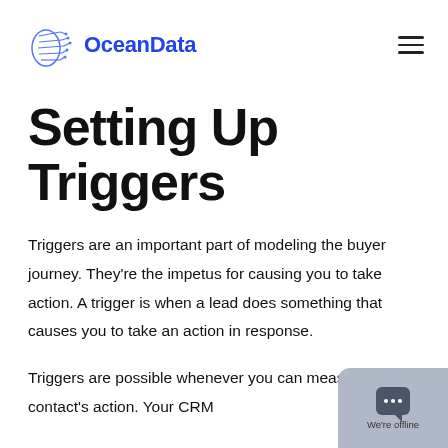OceanData
Setting Up Triggers
Triggers are an important part of modeling the buyer journey. They're the impetus for causing you to take action. A trigger is when a lead does something that causes you to take an action in response.
Triggers are possible whenever you can measure a contact's action. Your CRM